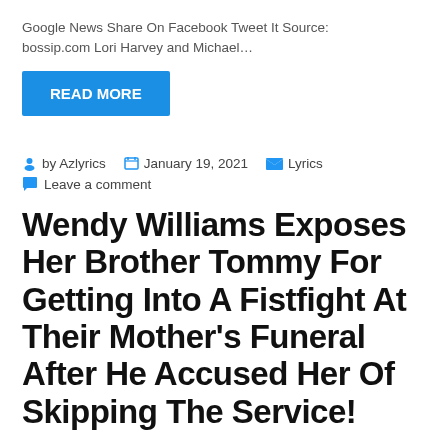Google News Share On Facebook Tweet It Source: bossip.com Lori Harvey and Michael...
READ MORE
by Azlyrics  January 19, 2021  Lyrics  Leave a comment
Wendy Williams Exposes Her Brother Tommy For Getting Into A Fistfight At Their Mother's Funeral After He Accused Her Of Skipping The Service!